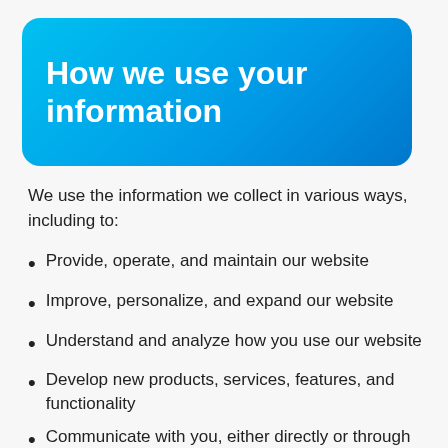How we use your information
We use the information we collect in various ways, including to:
Provide, operate, and maintain our website
Improve, personalize, and expand our website
Understand and analyze how you use our website
Develop new products, services, features, and functionality
Communicate with you, either directly or through one of our partners, including for